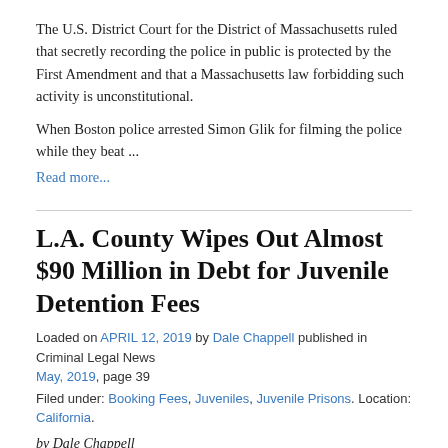The U.S. District Court for the District of Massachusetts ruled that secretly recording the police in public is protected by the First Amendment and that a Massachusetts law forbidding such activity is unconstitutional.
When Boston police arrested Simon Glik for filming the police while they beat ...
Read more...
L.A. County Wipes Out Almost $90 Million in Debt for Juvenile Detention Fees
Loaded on APRIL 12, 2019 by Dale Chappell published in Criminal Legal News May, 2019, page 39
Filed under: Booking Fees, Juveniles, Juvenile Prisons. Location: California.
by Dale Chappell
It has been illegal for Los Angeles County to charge juveniles and their families the cost of their incarceration since 2009. But, until recently, the county kept trying to collect nearly $90 million from 52,000 accounts that still owed the $24.00 per day charge for time spent ...